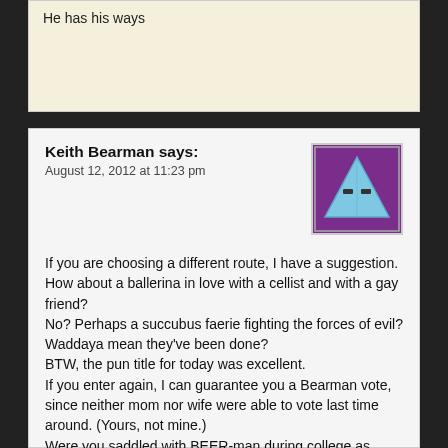He has his ways
Keith Bearman says:
August 12, 2012 at 11:23 pm
[Figure (illustration): Avatar image of a purple background with a blue triangle character with eyes]
If you are choosing a different route, I have a suggestion. How about a ballerina in love with a cellist and with a gay friend?
No? Perhaps a succubus faerie fighting the forces of evil?
Waddaya mean they've been done?
BTW, the pun title for today was excellent.
If you enter again, I can guarantee you a Bearman vote, since neither mom nor wife were able to vote last time around. (Yours, not mine.)
Were you saddled with BEER-man during college as were all of my sons?